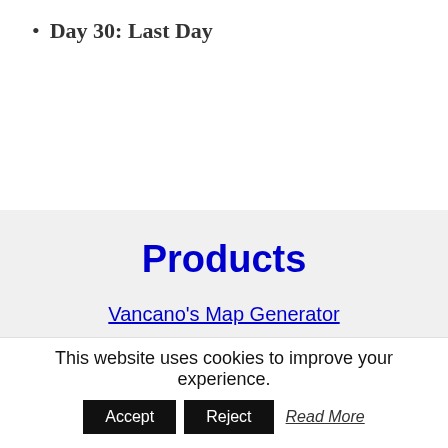Day 30: Last Day
Products
Vancano's Map Generator
Author's Guide to Drawing Maps
This website uses cookies to improve your experience.
Accept   Reject   Read More